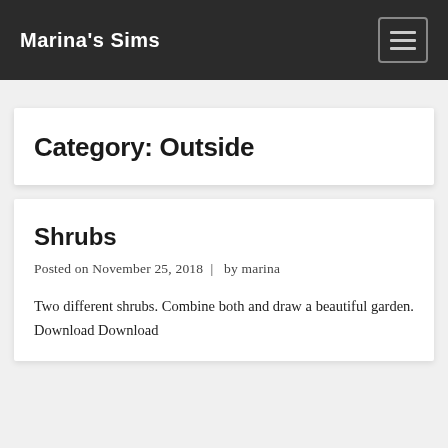Marina's Sims
Category: Outside
Shrubs
Posted on November 25, 2018  |  by marina
Two different shrubs. Combine both and draw a beautiful garden. Download Download